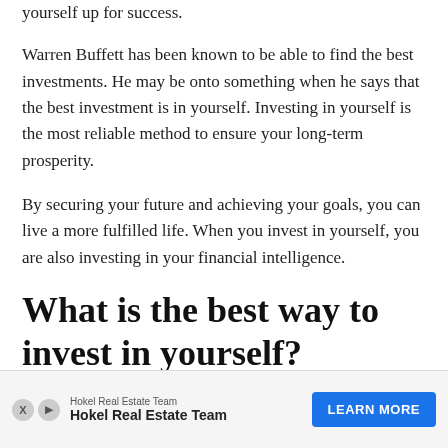yourself up for success.
Warren Buffett has been known to be able to find the best investments. He may be onto something when he says that the best investment is in yourself. Investing in yourself is the most reliable method to ensure your long-term prosperity.
By securing your future and achieving your goals, you can live a more fulfilled life. When you invest in yourself, you are also investing in your financial intelligence.
What is the best way to invest in yourself?
The best way to invest in yourself is to focus on your personal growth. When you invest in your education, you are increasing
[Figure (other): Advertisement banner for Hokel Real Estate Team with a blue 'LEARN MORE' button]